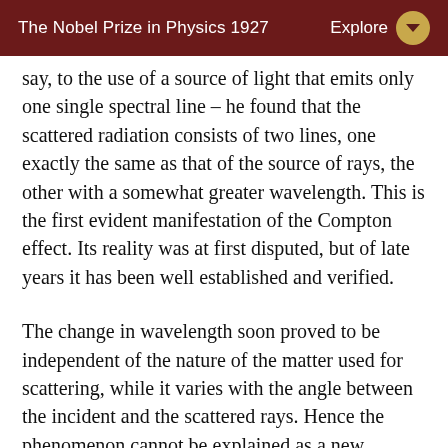The Nobel Prize in Physics 1927   Explore
say, to the use of a source of light that emits only one single spectral line – he found that the scattered radiation consists of two lines, one exactly the same as that of the source of rays, the other with a somewhat greater wavelength. This is the first evident manifestation of the Compton effect. Its reality was at first disputed, but of late years it has been well established and verified.
The change in wavelength soon proved to be independent of the nature of the matter used for scattering, while it varies with the angle between the incident and the scattered rays. Hence the phenomenon cannot be explained as a new characteristic radiation of the same nature as that hitherto known; and Compton deduced a new kind of corpuscular theory, with which all experimental